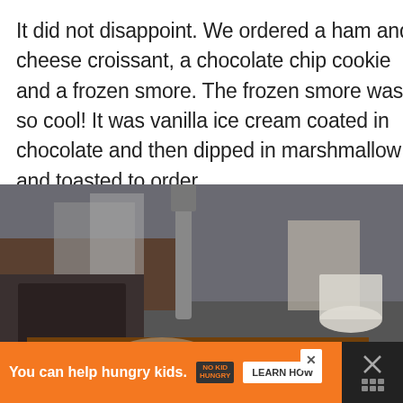It did not disappoint. We ordered a ham and cheese croissant, a chocolate chip cookie and a frozen smore. The frozen smore was so cool! It was vanilla ice cream coated in chocolate and then dipped in marshmallow and toasted to order.
[Figure (photo): Close-up photo of a toasted frozen s'more being held, showing toasted marshmallow exterior with chocolate and ice cream inside, with a bakery counter background. Overlaid with a share button and a 'What's Next: Marble Cake' thumbnail card.]
You can help hungry kids. NO KID HUNGRY LEARN HOW